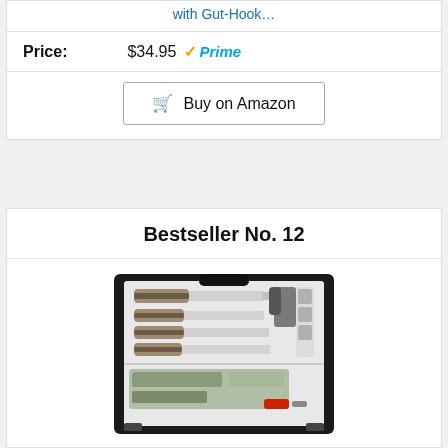with Gut-Hook…
Price: $34.95 Prime
Buy on Amazon
Bestseller No. 12
[Figure (photo): A hunting knife set in a black hard case, showing multiple camo-handled knives, an axe, and other tools arranged in foam cutouts]
GVDV Hunting Knife Set - 14 Pieces, Portable Butcher Game Processing Kit for Men, Field